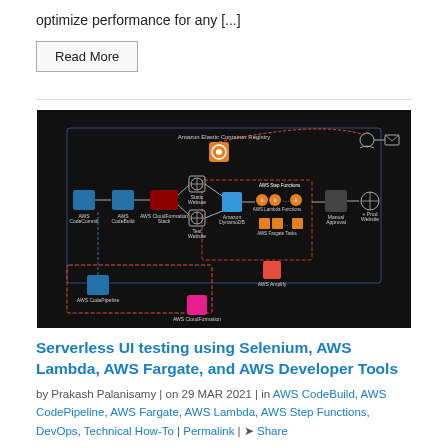optimize performance for any [...]
Read More
[Figure (engineering-diagram): AWS architecture diagram showing serverless UI testing pipeline with AWS CodeCommit, CodeBuild, CloudFormation, Static Website, Amazon DynamoDB, AWS Step Functions, AWS Lambda Functions, AWS Fargate Tasks, Manual Approval, Prod Website, AWS Amplify, AWS CodePipeline, and Amazon Elastic Container Registry connected by arrows on a dark background.]
Serverless UI testing using Selenium, AWS Lambda, AWS Fargate, and AWS Developer Tools
by Prakash Palanisamy | on 29 MAR 2021 | in AWS CodeBuild, AWS CodePipeline, AWS Fargate, AWS Lambda, AWS Step Functions, DevOps, Technical How-To | Permalink | Share
Since the post Using AWS CodePipeline, AWS CodeBuild, and